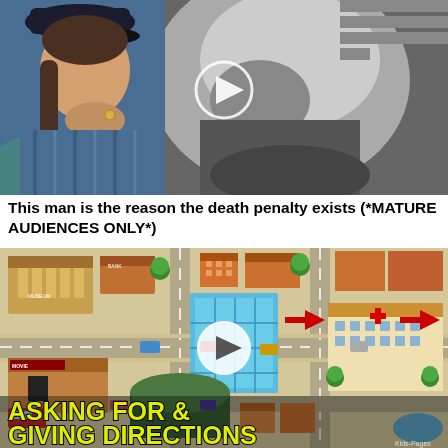[Figure (screenshot): Thumbnail image of a video showing a man in a backwards cap with hand to mouth (reaction face) overlaid on a black-and-white photo of a serious-looking man, with a play button circle in the center]
This man is the reason the death penalty exists (*MATURE AUDIENCES ONLY*)
[Figure (screenshot): Animated/illustrated video thumbnail showing a cartoon top-down map of a town with buildings, roads, trees, cars, and a play button. Text overlay reads 'ASKING FOR & GIVING DIRECTIONS'. Kids-Pages watermark in bottom right.]